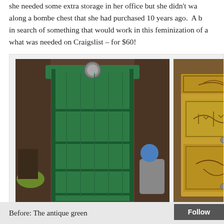she needed some extra storage in her office but she didn't wa... along a bombe chest that she had purchased 10 years ago. A b... in search of something that would work in this feminization of a... what was needed on Craigslist – for $60!
[Figure (photo): Two photos side by side: left shows a tall antique green bookcase/shelf unit with decorative top and multiple shelves, photographed in a garage or storage setting; right shows a yellow painted bombe chest with decorative painted scroll and floral motifs.]
Before: The antique green ... (no)